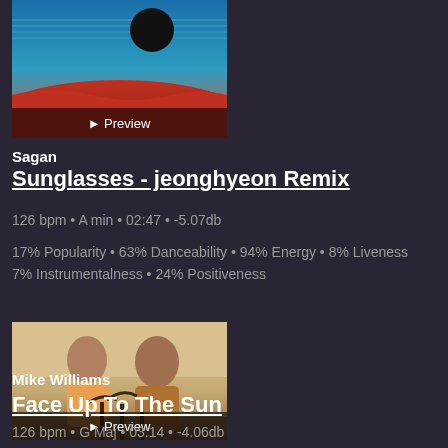[Figure (photo): Album artwork for Sunglasses - jeonghyeon Remix by Sagan, showing abstract space/landscape with dark sphere and red terrain, with a Preview button overlay]
Sagan
Sunglasses - jeonghyeon Remix
126 bpm • A min • 02:47 • -5.07db
17% Popularity • 63% Danceability • 94% Energy • 8% Liveness
7% Instrumentalness • 24% Positiveness
[Figure (photo): Album artwork for Face Up To The Sun by Mike Williams, showing two men standing against a sunset/desert background with palm trees, with a Preview button overlay]
Mike Williams
Face Up To The Sun
126 bpm • G Maj • 03:14 • -4.06db